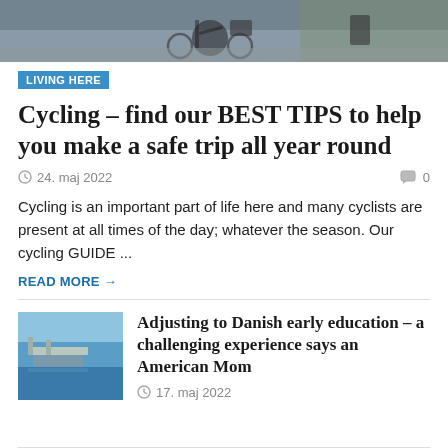[Figure (photo): Top partial photo showing cyclists or bikes on a road/path, dark grey tones with greenery at right edge]
LIVING HERE
Cycling – find our BEST TIPS to help you make a safe trip all year round
24. maj 2022   0
Cycling is an important part of life here and many cyclists are present at all times of the day; whatever the season. Our cycling GUIDE ...
READ MORE →
[Figure (photo): Thumbnail photo of a harbour or pier with blue sky]
Adjusting to Danish early education – a challenging experience says an American Mom
17. maj 2022